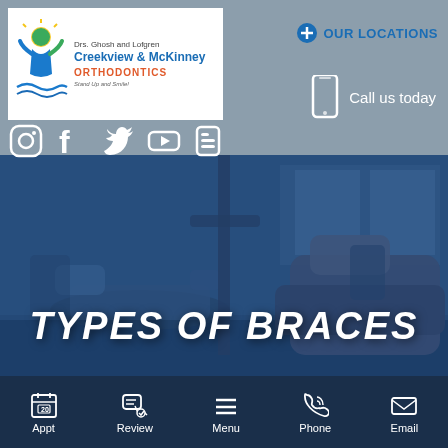[Figure (logo): Creekview & McKinney Orthodontics logo with green and blue person icon]
OUR LOCATIONS
Call us today
[Figure (screenshot): Social media icons: Instagram, Facebook, Twitter, YouTube, Blogger]
[Figure (photo): Dental office interior with blue-tinted overlay showing dental chairs]
TYPES OF BRACES
Appt  Review  Menu  Phone  Email